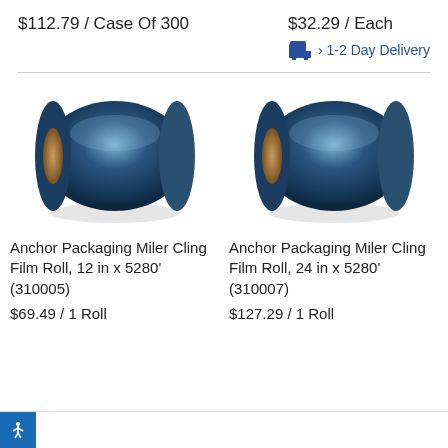$112.79 / Case Of 300
$32.29 / Each
› 1-2 Day Delivery
[Figure (photo): Anchor Packaging Miler Cling Film Roll, 12 in x 5280' (310005) - dark blue cylindrical roll of cling film]
Anchor Packaging Miler Cling Film Roll, 12 in x 5280' (310005)
$69.49 / 1 Roll
[Figure (photo): Anchor Packaging Miler Cling Film Roll, 24 in x 5280' (310007) - dark blue cylindrical roll of cling film]
Anchor Packaging Miler Cling Film Roll, 24 in x 5280' (310007)
$127.29 / 1 Roll